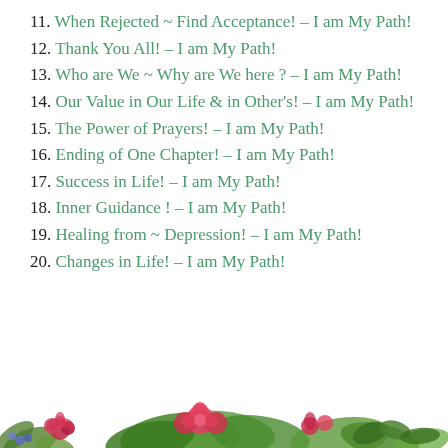11. When Rejected ~ Find Acceptance! – I am My Path!
12. Thank You All! – I am My Path!
13. Who are We ~ Why are We here ? – I am My Path!
14. Our Value in Our Life & in Other's! – I am My Path!
15. The Power of Prayers! – I am My Path!
16. Ending of One Chapter! – I am My Path!
17. Success in Life! – I am My Path!
18. Inner Guidance ! – I am My Path!
19. Healing from ~ Depression! – I am My Path!
20. Changes in Life! – I am My Path!
[Figure (illustration): Decorative floral arrangement with pink roses, green leaves and ivy at the bottom of the page]